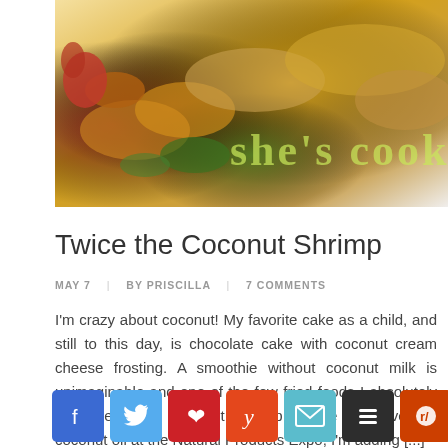[Figure (photo): Close-up photo of coconut shrimp with text overlay reading 'she's cook' in decorative font, partially visible]
Twice the Coconut Shrimp
MAY 7  |  BY PRISCILLA  |  7 COMMENTS
I’m crazy about coconut! My favorite cake as a child, and still to this day, is chocolate cake with coconut cream cheese frosting. A smoothie without coconut milk is unimaginable and one of the few fried foods I absolutely can’t resist is coconut shrimp! Since “discovering” coconut oil at the Natural Products Expo, I’m adding [...]
[Figure (infographic): Row of social media share buttons: Facebook (blue), Twitter (light blue), Pinterest (red), Yummly (orange-red), Email (cyan), Buffer (dark grey), Reddit (orange-red), Mix (orange) — partially cut off]